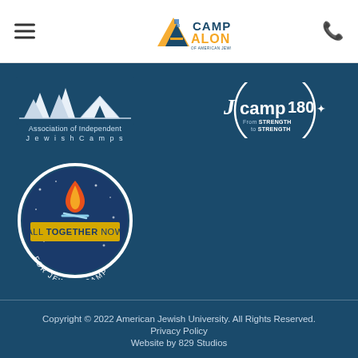[Figure (logo): Camp Alonim of American Jewish University logo - orange triangle with blue A letter and text]
[Figure (logo): Association of Independent Jewish Camps logo - tent and trees illustration]
[Figure (logo): Jcamp180 From Strength to Strength logo]
[Figure (logo): All Together Now For Jewish Camp circular badge logo with flame]
Copyright © 2022 American Jewish University. All Rights Reserved.
Privacy Policy
Website by 829 Studios